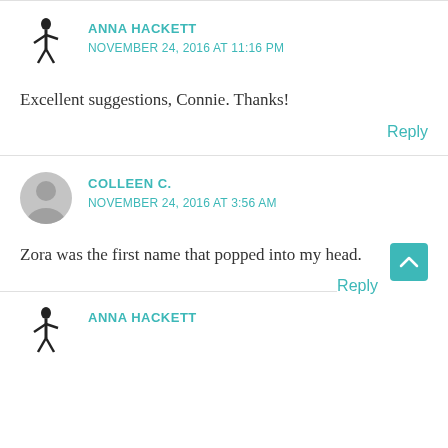ANNA HACKETT
NOVEMBER 24, 2016 AT 11:16 PM
Excellent suggestions, Connie. Thanks!
Reply
COLLEEN C.
NOVEMBER 24, 2016 AT 3:56 AM
Zora was the first name that popped into my head.
Reply
ANNA HACKETT